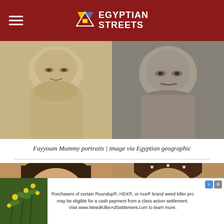Egyptian Streets
[Figure (photo): Two Fayyoum mummy portraits side by side — left shows a painted figure with beige/golden tones, right shows another portrait with greyer tones]
Fayyoum Mummy portraits | image via Egyptian geographic
[Figure (photo): Two close-up Fayyoum mummy portrait faces — left shows a young man with dark short hair and large dark eyes on warm background, right shows a curly-haired figure on aged wooden panel]
[Figure (photo): Advertisement: plants with yellow flowers on left side]
Purchasers of certain Roundup®, HDX®, or Ace® brand weed killer products may be eligible for a cash payment from a class action settlement. Visit www.WeedKillerAdSettlement.com to learn more.